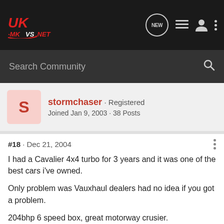[Figure (logo): UK-MKVS.NET forum logo in red and white on dark background]
Search Community
stormchaser · Registered
Joined Jan 9, 2003 · 38 Posts
#18 · Dec 21, 2004
I had a Cavalier 4x4 turbo for 3 years and it was one of the best cars i've owned.
Only problem was Vauxhaul dealers had no idea if you got a problem.
204bhp 6 speed box, great motorway crusier.
Wish I could get one for a weekend car again.